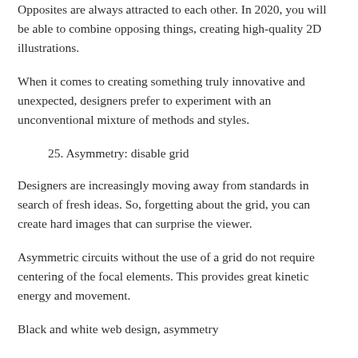Opposites are always attracted to each other. In 2020, you will be able to combine opposing things, creating high-quality 2D illustrations.
When it comes to creating something truly innovative and unexpected, designers prefer to experiment with an unconventional mixture of methods and styles.
25. Asymmetry: disable grid
Designers are increasingly moving away from standards in search of fresh ideas. So, forgetting about the grid, you can create hard images that can surprise the viewer.
Asymmetric circuits without the use of a grid do not require centering of the focal elements. This provides great kinetic energy and movement.
Black and white web design, asymmetry